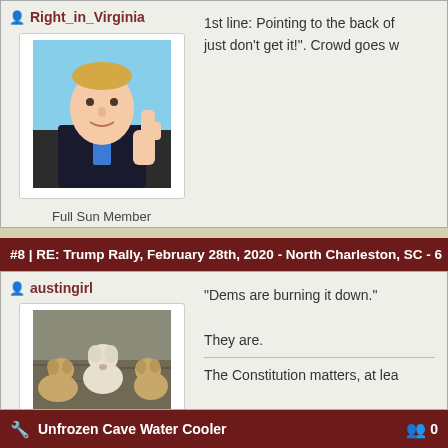Right_in_Virginia
[Figure (photo): Profile photo of a man in a suit giving a thumbs up]
Full Sun Member
Show info
1st line: Pointing to the back of... just don't get it!". Crowd goes w...
#8 | RE: Trump Rally, February 28th, 2020 - North Charleston, SC - 6
austingirl
[Figure (photo): Profile photo of puppies/dogs]
Sunlight Member
Show info
"Dems are burning it down."
They are.
The Constitution matters, at lea...
Unfrozen Cave Water Cooler  0